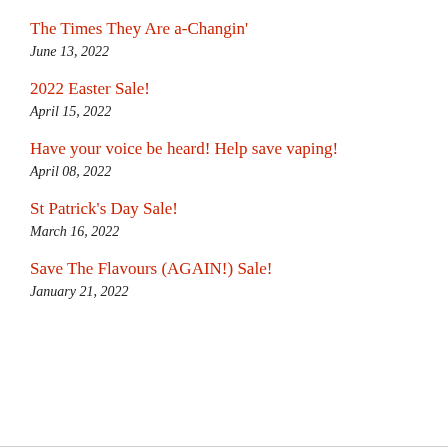The Times They Are a-Changin'
June 13, 2022
2022 Easter Sale!
April 15, 2022
Have your voice be heard! Help save vaping!
April 08, 2022
St Patrick's Day Sale!
March 16, 2022
Save The Flavours (AGAIN!) Sale!
January 21, 2022